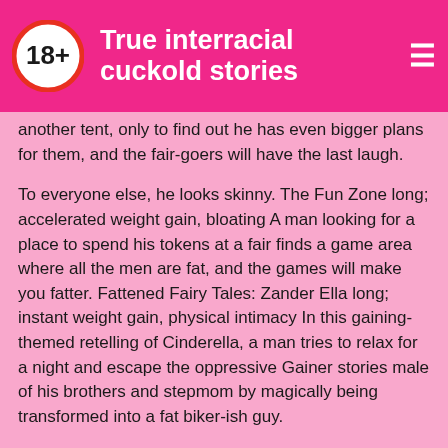True interracial cuckold stories
another tent, only to find out he has even bigger plans for them, and the fair-goers will have the last laugh.
To everyone else, he looks skinny. The Fun Zone long; accelerated weight gain, bloating A man looking for a place to spend his tokens at a fair finds a game area where all the men are fat, and the games will make you fatter. Fattened Fairy Tales: Zander Ella long; instant weight gain, physical intimacy In this gaining-themed retelling of Cinderella, a man tries to relax for a night and escape the oppressive Gainer stories male of his brothers and stepmom by magically being transformed into a fat biker-ish guy.
Not Quite Professional short; general fatness A man at a job interview has trouble maintaining his composure, as every guy he Indian crossdresser stories with is fatter than the last. While the two pilots have their own fun with the